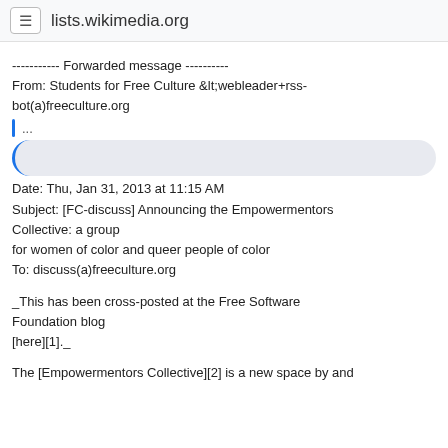lists.wikimedia.org
----------- Forwarded message ----------
From: Students for Free Culture &lt;webleader+rss-bot(a)freeculture.org
...
Date: Thu, Jan 31, 2013 at 11:15 AM
Subject: [FC-discuss] Announcing the Empowermentors Collective: a group
for women of color and queer people of color
To: discuss(a)freeculture.org
_This has been cross-posted at the Free Software Foundation blog
[here][1]._
The [Empowermentors Collective][2] is a new space by and